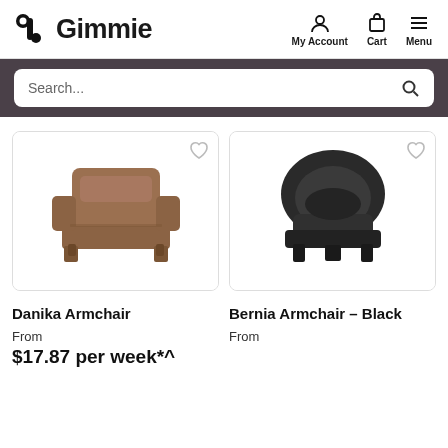Gimmie — My Account  Cart  Menu
Search...
[Figure (photo): Brown leather armchair product photo on white background]
[Figure (photo): Black fabric tub armchair product photo on white background]
Danika Armchair
Bernia Armchair – Black
From
$17.87 per week*^
From